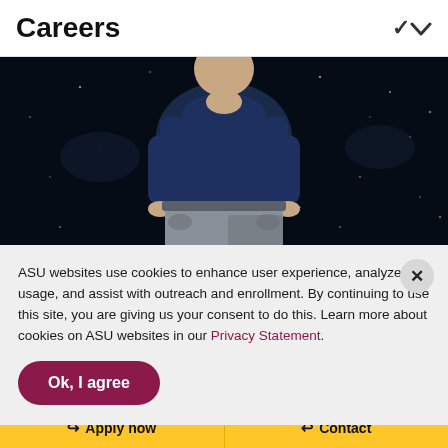Careers
[Figure (photo): Person wearing a dark navy blue top and grey trousers standing against a dark starry/galaxy background]
ASU websites use cookies to enhance user experience, analyze site usage, and assist with outreach and enrollment. By continuing to use this site, you are giving us your consent to do this. Learn more about cookies on ASU websites in our Privacy Statement.
Ok, I agree
Apply now   Contact